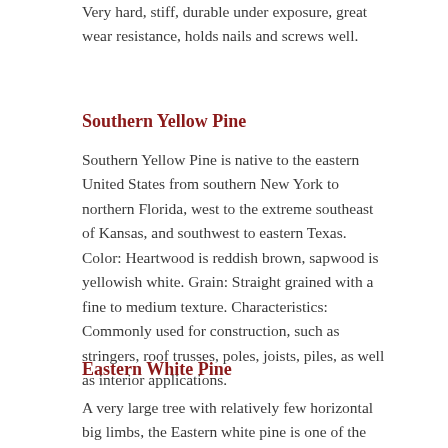Very hard, stiff, durable under exposure, great wear resistance, holds nails and screws well.
Southern Yellow Pine
Southern Yellow Pine is native to the eastern United States from southern New York to northern Florida, west to the extreme southeast of Kansas, and southwest to eastern Texas. Color: Heartwood is reddish brown, sapwood is yellowish white. Grain: Straight grained with a fine to medium texture. Characteristics: Commonly used for construction, such as stringers, roof trusses, poles, joists, piles, as well as interior applications.
Eastern White Pine
A very large tree with relatively few horizontal big limbs, the Eastern white pine is one of the tallest timber trees in